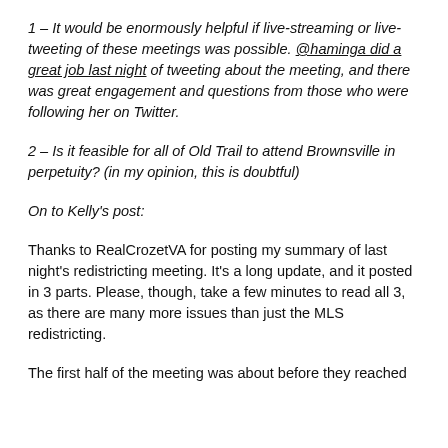1 – It would be enormously helpful if live-streaming or live-tweeting of these meetings was possible. @haminga did a great job last night of tweeting about the meeting, and there was great engagement and questions from those who were following her on Twitter.
2 – Is it feasible for all of Old Trail to attend Brownsville in perpetuity? (in my opinion, this is doubtful)
On to Kelly's post:
Thanks to RealCrozetVA for posting my summary of last night's redistricting meeting. It's a long update, and it posted in 3 parts. Please, though, take a few minutes to read all 3, as there are many more issues than just the MLS redistricting.
The first half of the meeting was about before they reached...